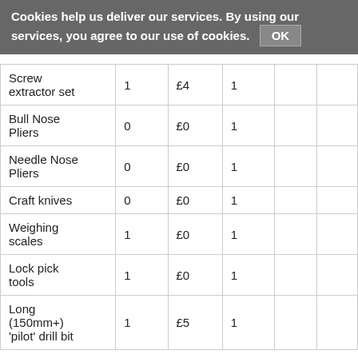Cookies help us deliver our services. By using our services, you agree to our use of cookies. OK
| Screw extractor set | 1 | £4 | 1 |  |  |
| Bull Nose Pliers | 0 | £0 | 1 |  |  |
| Needle Nose Pliers | 0 | £0 | 1 |  |  |
| Craft knives | 0 | £0 | 1 |  |  |
| Weighing scales | 1 | £0 | 1 |  |  |
| Lock pick tools | 1 | £0 | 1 |  |  |
| Long (150mm+) 'pilot' drill bit | 1 | £5 | 1 |  |  |